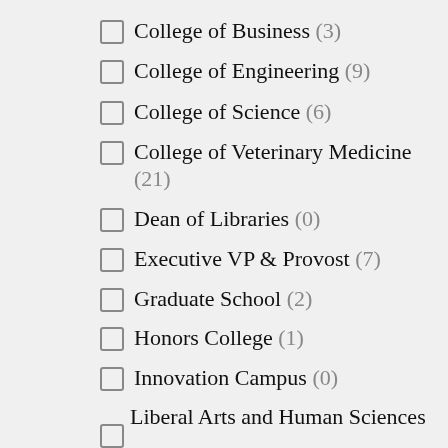College of Business (3)
College of Engineering (9)
College of Science (6)
College of Veterinary Medicine (21)
Dean of Libraries (0)
Executive VP & Provost (7)
Graduate School (2)
Honors College (1)
Innovation Campus (0)
Liberal Arts and Human Sciences